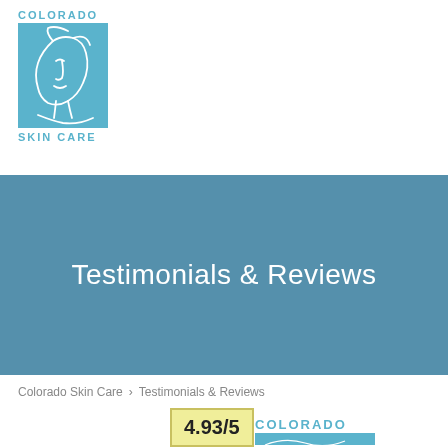[Figure (logo): Colorado Skin Care logo: blue square with line drawing of a woman's face/neck profile, text 'COLORADO' above and 'SKIN CARE' below in teal letters]
Testimonials & Reviews
Colorado Skin Care > Testimonials & Reviews
4.93/5
[Figure (logo): Colorado Skin Care logo partial, showing 'COLORADO' text in teal and blue square with face drawing, partially cropped at bottom]